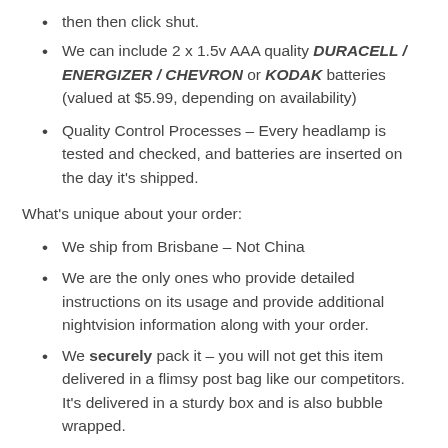then then click shut.
We can include 2 x 1.5v AAA quality DURACELL / ENERGIZER / CHEVRON or KODAK batteries (valued at $5.99, depending on availability)
Quality Control Processes – Every headlamp is tested and checked, and batteries are inserted on the day it's shipped.
What's unique about your order:
We ship from Brisbane – Not China
We are the only ones who provide detailed instructions on its usage and provide additional nightvision information along with your order.
We securely pack it – you will not get this item delivered in a flimsy post bag like our competitors. It's delivered in a sturdy box and is also bubble wrapped.
This headlamp is especially custom manufactured